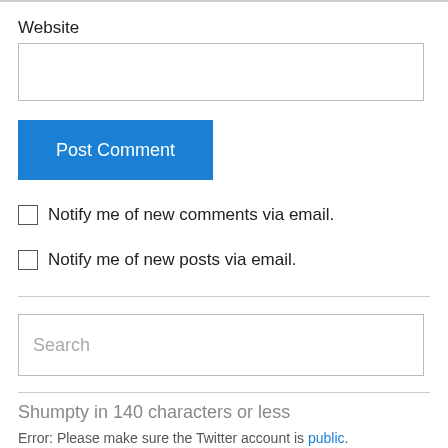Website
Post Comment
Notify me of new comments via email.
Notify me of new posts via email.
Search
Shumpty in 140 characters or less
Error: Please make sure the Twitter account is public.